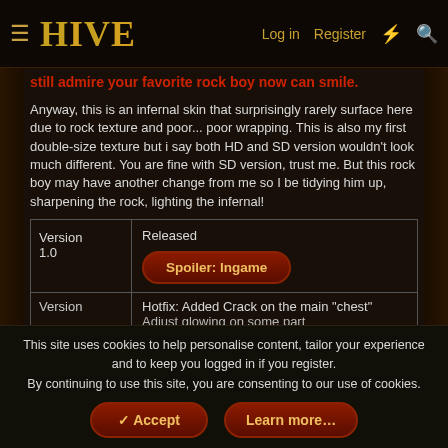HIVE | Log in | Register
still admire your favorite rock boy now can smile.
Anyway, this is an infernal skin that surprisingly rarely surface here due to rock texture and poor... poor wrapping. This is also my first double-size texture but i say both HD and SD version wouldn't look much different. You are fine with SD version, trust me. But this rock boy may have another change from me so I be tidying him up, sharpening the rock, lighting the infernal!
| Version 1.0 | Released
Spoiler: Ingame |
| Version | Hotfix: Added Crack on the main "chest"
Adjust glowing on some part |
This site uses cookies to help personalise content, tailor your experience and to keep you logged in if you register.
By continuing to use this site, you are consenting to our use of cookies.